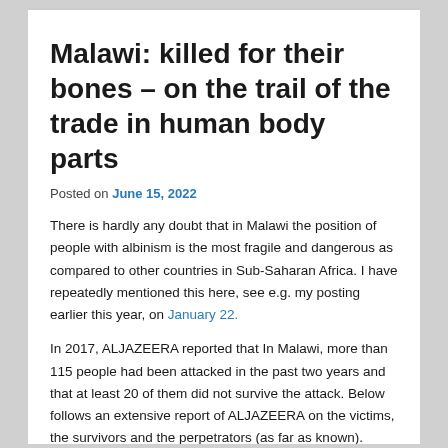Malawi: killed for their bones – on the trail of the trade in human body parts
Posted on June 15, 2022
There is hardly any doubt that in Malawi the position of people with albinism is the most fragile and dangerous as compared to other countries in Sub-Saharan Africa. I have repeatedly mentioned this here, see e.g. my posting earlier this year, on January 22.
In 2017, ALJAZEERA reported that In Malawi, more than 115 people had been attacked in the past two years and that at least 20 of them did not survive the attack. Below follows an extensive report of ALJAZEERA on the victims, the survivors and the perpetrators (as far as known).